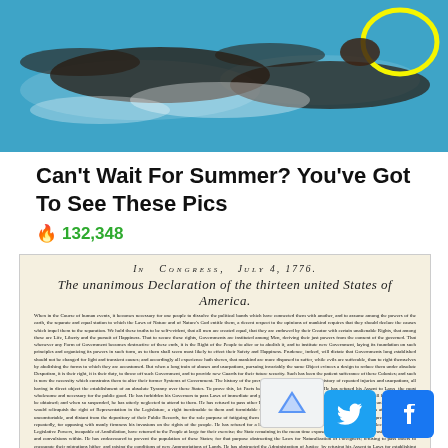[Figure (photo): Swimmers in a pool with water splash, yellow circle highlight in top right]
Can't Wait For Summer? You've Got To See These Pics
🔥 132,348
[Figure (photo): Image of the United States Declaration of Independence document - In Congress, July 4, 1776, The unanimous Declaration of the thirteen united States of America]
[Figure (other): Social media share buttons: Twitter (blue) and Facebook (blue), and reCAPTCHA logo]